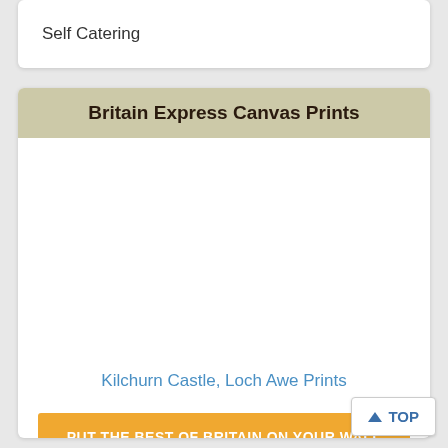Self Catering
Britain Express Canvas Prints
[Figure (other): Blank white image placeholder area for Kilchurn Castle, Loch Awe print]
Kilchurn Castle, Loch Awe Prints
PUT THE BEST OF BRITAIN ON YOUR WALL